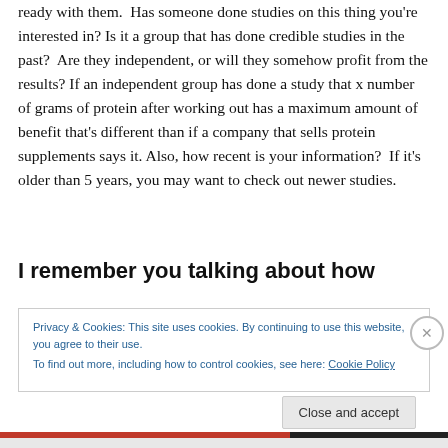ready with them.  Has someone done studies on this thing you're interested in? Is it a group that has done credible studies in the past?  Are they independent, or will they somehow profit from the results? If an independent group has done a study that x number of grams of protein after working out has a maximum amount of benefit that's different than if a company that sells protein supplements says it. Also, how recent is your information?  If it's older than 5 years, you may want to check out newer studies.
I remember you talking about how
Privacy & Cookies: This site uses cookies. By continuing to use this website, you agree to their use.
To find out more, including how to control cookies, see here: Cookie Policy